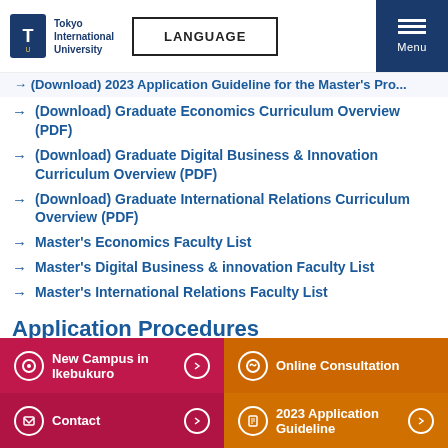Tokyo International University | LANGUAGE | Menu
(Download) 2023 Application Guideline for the Master's Pro...
(Download) Graduate Economics Curriculum Overview (PDF)
(Download) Graduate Digital Business & Innovation Curriculum Overview (PDF)
(Download) Graduate International Relations Curriculum Overview (PDF)
Master's Economics Faculty List
Master's Digital Business & innovation Faculty List
Master's International Relations Faculty List
Application Procedures
I. Application
New Campus in Ikebukuro | Online Consultation | Contact | 2023 Application Guideline